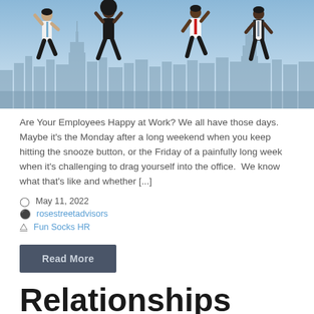[Figure (photo): Four people in business attire jumping joyfully in the air with a city skyline (resembling New York City) in the background on a clear day.]
Are Your Employees Happy at Work? We all have those days.  Maybe it's the Monday after a long weekend when you keep hitting the snooze button, or the Friday of a painfully long week when it's challenging to drag yourself into the office.  We know what that's like and whether [...]
May 11, 2022
rosestreetadvisors
Fun Socks HR
Read More
Relationships